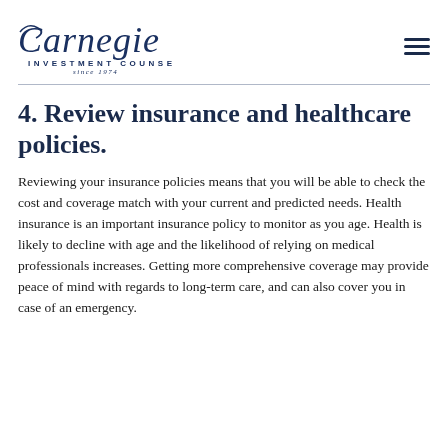Carnegie Investment Counsel since 1974
4. Review insurance and healthcare policies.
Reviewing your insurance policies means that you will be able to check the cost and coverage match with your current and predicted needs. Health insurance is an important insurance policy to monitor as you age. Health is likely to decline with age and the likelihood of relying on medical professionals increases. Getting more comprehensive coverage may provide peace of mind with regards to long-term care, and can also cover you in case of an emergency.